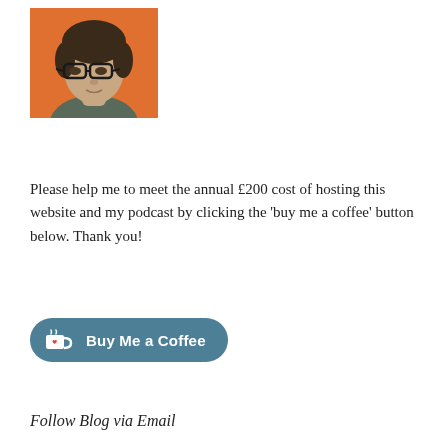[Figure (photo): Headshot photo of a young man with dark hair, glasses, wearing a grey shirt, against an orange background.]
Please help me to meet the annual £200 cost of hosting this website and my podcast by clicking the 'buy me a coffee' button below. Thank you!
[Figure (other): Buy Me a Coffee button — teal rounded rectangle with coffee cup icon and bold white text 'Buy Me a Coffee'.]
Follow Blog via Email